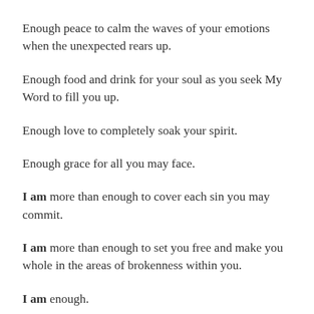Enough peace to calm the waves of your emotions when the unexpected rears up.
Enough food and drink for your soul as you seek My Word to fill you up.
Enough love to completely soak your spirit.
Enough grace for all you may face.
I am more than enough to cover each sin you may commit.
I am more than enough to set you free and make you whole in the areas of brokenness within you.
I am enough.